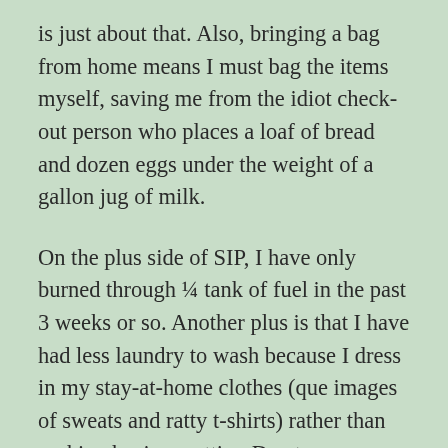is just about that. Also, bringing a bag from home means I must bag the items myself, saving me from the idiot check-out person who places a loaf of bread and dozen eggs under the weight of a gallon jug of milk.
On the plus side of SIP, I have only burned through ¼ tank of fuel in the past 3 weeks or so. Another plus is that I have had less laundry to wash because I dress in my stay-at-home clothes (que images of sweats and ratty t-shirts) rather than rocking business attire. Due to my having the nature of an introvert, I have truly enjoyed free curbside-pick up when ordering items online from local stores. I wonder why I haven't been doing this all along until I